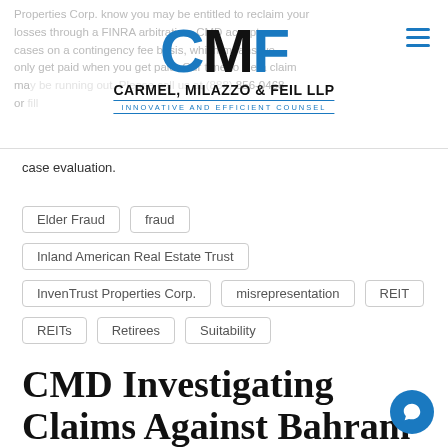[Figure (logo): Carmel, Milazzo & Feil LLP law firm logo with CMF monogram in blue and black, tagline: INNOVATIVE AND EFFICIENT COUNSEL]
Properties Corp. know you may be entitled to reclaim your losses through a FINRA arbitration. CMD accepts cases on a contingency fee basis, which means we only get paid when you get paid. Our time to file a claim may be running out. Please call us at (888) 856-0468 or fill out our online form to arrange a confidential case evaluation.
Elder Fraud
fraud
Inland American Real Estate Trust
InvenTrust Properties Corp.
misrepresentation
REIT
REITs
Retirees
Suitability
CMD Investigating Claims Against Bahram